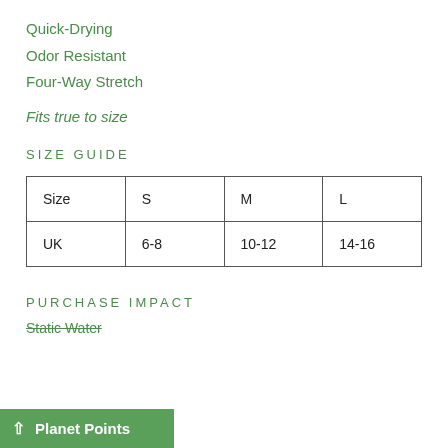Quick-Drying
Odor Resistant
Four-Way Stretch
Fits true to size
SIZE GUIDE
| Size | S | M | L |
| --- | --- | --- | --- |
| UK | 6-8 | 10-12 | 14-16 |
PURCHASE IMPACT
Static Water